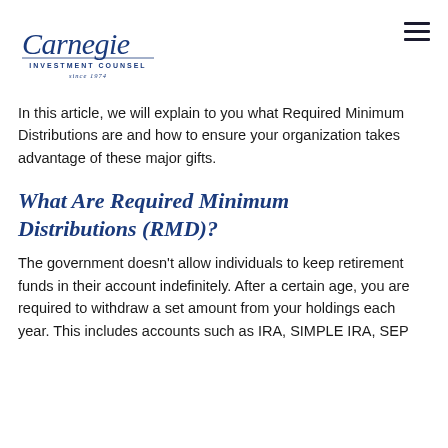[Figure (logo): Carnegie Investment Counsel logo with italic script text and 'INVESTMENT COUNSEL since 1974' tagline]
In this article, we will explain to you what Required Minimum Distributions are and how to ensure your organization takes advantage of these major gifts.
What Are Required Minimum Distributions (RMD)?
The government doesn't allow individuals to keep retirement funds in their account indefinitely. After a certain age, you are required to withdraw a set amount from your holdings each year. This includes accounts such as IRA, SIMPLE IRA, SEP